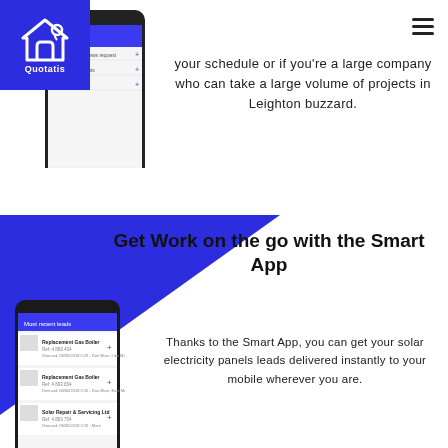[Figure (logo): Quotatis logo — white house icon on blue square background with 'Quotatis' text below]
[Figure (screenshot): Mobile phone screenshot showing the Quotatis app interface with menu items including Ratings and reviews request, Upload documents, Your reviews]
your schedule or if you're a large company who can take a large volume of projects in Leighton buzzard.
[Figure (screenshot): Mobile phone screenshot showing the Quotatis Smart App with recent leads list including Replacement Gas Boiler entries and Solar Repair & Servicing Ltd]
Get Work on the go with the Smart App
Thanks to the Smart App, you can get your solar electricity panels leads delivered instantly to your mobile wherever you are.